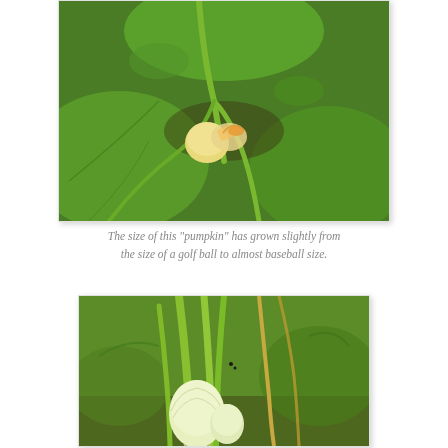[Figure (photo): Close-up photograph of a small yellow-white pumpkin growing on a vine among large green leaves and other vegetation in a garden]
The size of this "pumpkin" has grown slightly from the size of a golf ball to almost baseball size.
[Figure (photo): Close-up photograph of onions growing in a garden, showing pale green stalks and white bulbs with small developing onions visible among grass and stems]